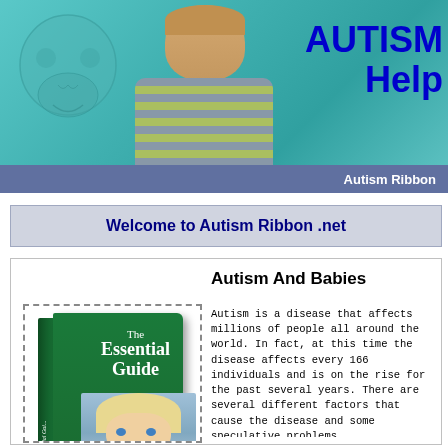[Figure (photo): Banner image with a boy in a striped shirt looking down, a brain/skull graphic on the left, and teal background with 'AUTISM Help' text in blue]
Autism Ribbon
Welcome to Autism Ribbon .net
Autism And Babies
[Figure (illustration): Book cover titled 'The Essential Guide' with a woman's face on the cover, green book design]
Autism is a disease that affects millions of people all around the world. In fact, at this time the disease affects every 166 individuals and is on the rise for the past several years. There are several different factors that cause the disease and some speculative problems